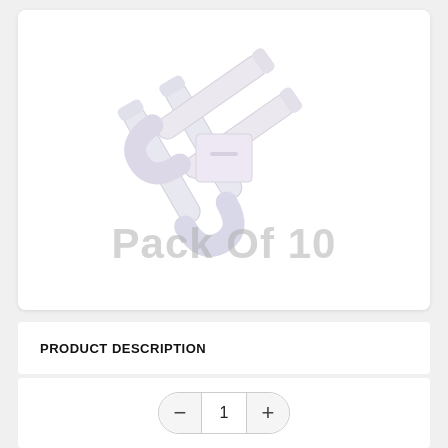[Figure (photo): Two U-shaped fluorescent/CFL lamp tubes crossed, with a white connector block in the center. White/light colored tubes on white background. Watermark text 'Pack Of 10' overlaid in large gray letters.]
PRODUCT DESCRIPTION
1 (quantity control with minus and plus buttons)